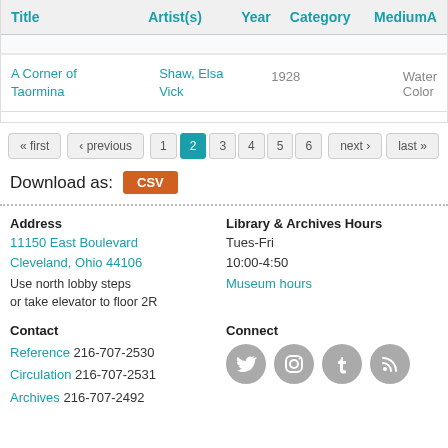| Title | Artist(s) | Year | Category | Medium | A… |
| --- | --- | --- | --- | --- | --- |
| A Corner of Taormina | Shaw, Elsa Vick | 1928 |  | Water Color |  |
« first ‹ previous 1 2 3 4 5 6 next › last »
Download as: CSV
Address
11150 East Boulevard
Cleveland, Ohio 44106

Use north lobby steps
or take elevator to floor 2R
Library & Archives Hours
Tues-Fri
10:00-4:50
Museum hours
Contact
Reference 216-707-2530
Circulation 216-707-2531
Archives 216-707-2492
Connect